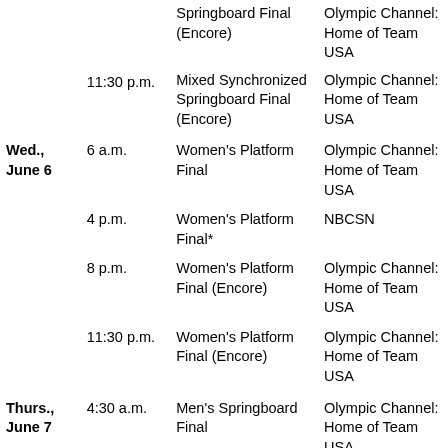| Date | Time | Event | Channel |
| --- | --- | --- | --- |
|  |  | Springboard Final (Encore) | Olympic Channel: Home of Team USA |
|  | 11:30 p.m. | Mixed Synchronized Springboard Final (Encore) | Olympic Channel: Home of Team USA |
| Wed., June 6 | 6 a.m. | Women's Platform Final | Olympic Channel: Home of Team USA |
|  | 4 p.m. | Women's Platform Final* | NBCSN |
|  | 8 p.m. | Women's Platform Final (Encore) | Olympic Channel: Home of Team USA |
|  | 11:30 p.m. | Women's Platform Final (Encore) | Olympic Channel: Home of Team USA |
| Thurs., June 7 | 4:30 a.m. | Men's Springboard Final | Olympic Channel: Home of Team USA |
|  | 6 a.m. | Women's Synchronized Platform Final | Olympic Channel: Home of Team USA |
|  | 4 p.m. | Women's Synchronized... | NBCSN |